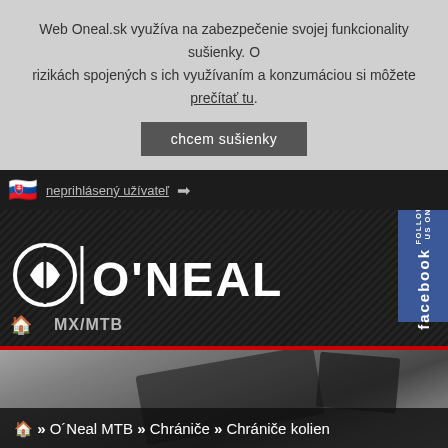Web Oneal.sk využíva na zabezpečenie svojej funkcionality sušienky. O rizikách spojených s ich využívaním a konzumáciou si môžete prečítať tu.
chcem sušienky
[Figure (screenshot): O'Neal website header with Slovak flag, login link, O'Neal logo, Facebook follow button, MX/MTB navigation, and breadcrumb: Home » O'Neal MTB » Chrániče » Chrániče kolien]